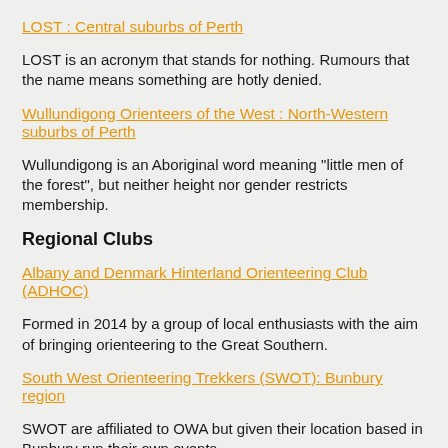LOST : Central suburbs of Perth
LOST is an acronym that stands for nothing. Rumours that the name means something are hotly denied.
Wullundigong Orienteers of the West : North-Western suburbs of Perth
Wullundigong is an Aboriginal word meaning "little men of the forest", but neither height nor gender restricts membership.
Regional Clubs
Albany and Denmark Hinterland Orienteering Club (ADHOC)
Formed in 2014 by a group of local enthusiasts with the aim of bringing orienteering to the Great Southern.
South West Orienteering Trekkers (SWOT): Bunbury region
SWOT are affiliated to OWA but given their location based in Bunbury run their own events.